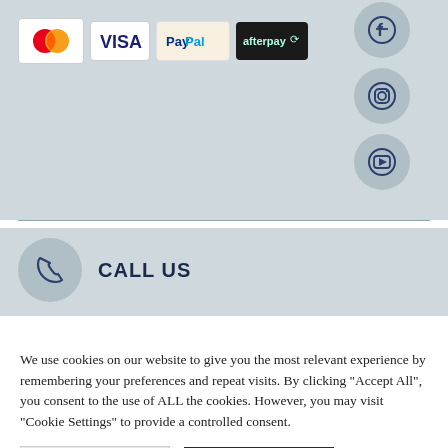[Figure (logo): Payment method icons: MasterCard, VISA, PayPal, Afterpay]
[Figure (illustration): Social media icons: Facebook (partially visible), Instagram, YouTube — each in a circular grey button]
[Figure (illustration): Phone icon in circular grey button with CALL US label]
CALL US
We use cookies on our website to give you the most relevant experience by remembering your preferences and repeat visits. By clicking “Accept All”, you consent to the use of ALL the cookies. However, you may visit “Cookie Settings” to provide a controlled consent.
Cookie Settings
Accept All